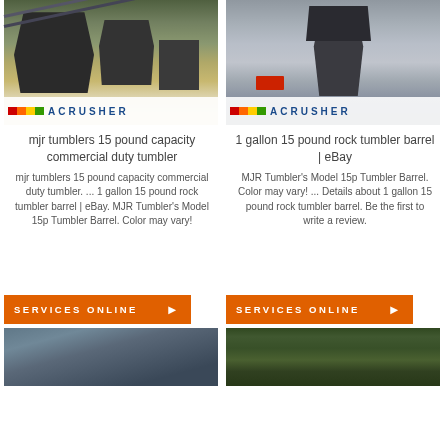[Figure (photo): Industrial crushing equipment on a mountain/quarry site with Acrusher logo]
[Figure (photo): Industrial silo/tower structure in misty conditions with Acrusher logo]
mjr tumblers 15 pound capacity commercial duty tumbler
1 gallon 15 pound rock tumbler barrel | eBay
mjr tumblers 15 pound capacity commercial duty tumbler. ... 1 gallon 15 pound rock tumbler barrel | eBay. MJR Tumbler's Model 15p Tumbler Barrel. Color may vary!
MJR Tumbler's Model 15p Tumbler Barrel. Color may vary! ... Details about 1 gallon 15 pound rock tumbler barrel. Be the first to write a review.
[Figure (photo): Services Online button - orange banner with arrow]
[Figure (photo): Services Online button - orange banner with arrow]
[Figure (photo): Conveyor belt industrial structure photo]
[Figure (photo): Green industrial machine/crusher equipment photo]